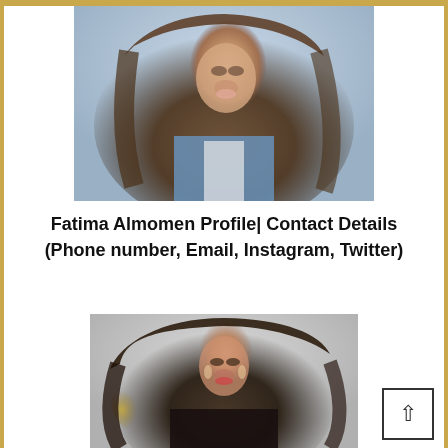[Figure (photo): Portrait photo of Fatima Almomen, a woman with long brown wavy hair wearing a blue blazer over a white top, looking directly at the camera against a blurred outdoor background.]
Fatima Almomen Profile| Contact Details (Phone number, Email, Instagram, Twitter)
[Figure (photo): Second photo of Fatima Almomen wearing a black outfit with gold accessories and earrings, with dark wavy hair, red lipstick, posing against a white background.]